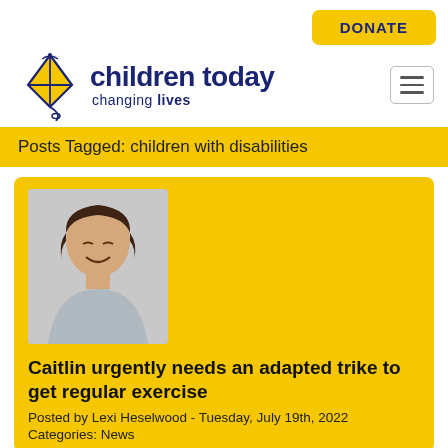[Figure (logo): Children Today Charitable Trust logo with kite graphic, text 'children today changing lives']
Posts Tagged: children with disabilities
Caitlin urgently needs an adapted trike to get regular exercise
Posted by Lexi Heselwood - Tuesday, July 19th, 2022
Categories: News